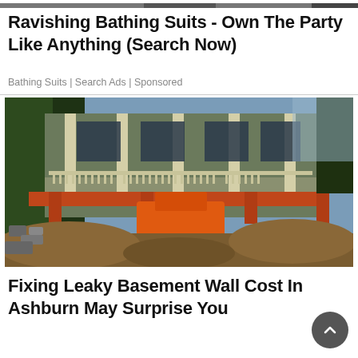[Figure (photo): Partial top edge of a photo, dark background, cropped]
Ravishing Bathing Suits - Own The Party Like Anything (Search Now)
Bathing Suits | Search Ads | Sponsored
[Figure (photo): Construction photo: a house lifted on a platform with an orange skid steer loader underneath, surrounded by excavated dirt and rubble]
Fixing Leaky Basement Wall Cost In Ashburn May Surprise You